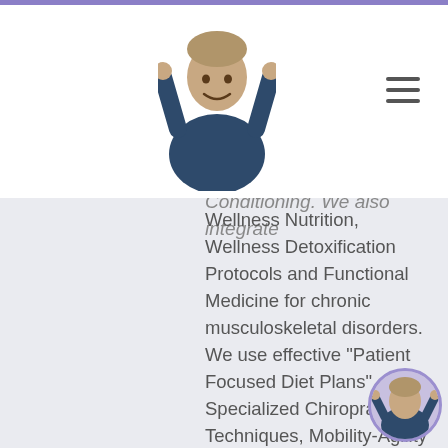[Figure (photo): Doctor in dark blue scrubs giving thumbs up, header image]
Conditioning. We also integrate Wellness Nutrition, Wellness Detoxification Protocols and Functional Medicine for chronic musculoskeletal disorders. We use effective "Patient Focused Diet Plans", Specialized Chiropractic Techniques, Mobility-Agility Training, Cross-Fit Protocols, and the Premier "PUSH Functional Fitness System" to treat patients suffering from various injuries and health problems. Ultimately, I am here to serve my patients and community as a Chiropractor passionately restoring functional life and facilitating living through increased mobility. Purpose & Passions: I am a Doctor of
[Figure (photo): Small circular avatar of doctor in dark blue scrubs giving thumbs up, bottom right corner]